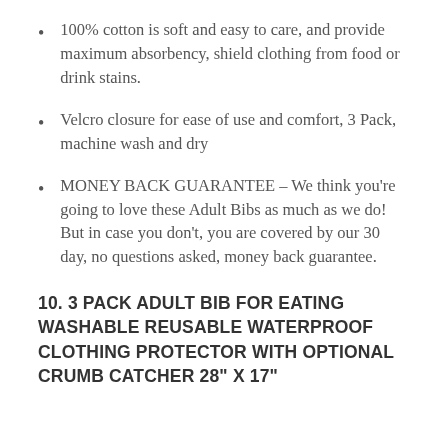100% cotton is soft and easy to care, and provide maximum absorbency, shield clothing from food or drink stains.
Velcro closure for ease of use and comfort, 3 Pack, machine wash and dry
MONEY BACK GUARANTEE – We think you're going to love these Adult Bibs as much as we do! But in case you don't, you are covered by our 30 day, no questions asked, money back guarantee.
10. 3 PACK ADULT BIB FOR EATING WASHABLE REUSABLE WATERPROOF CLOTHING PROTECTOR WITH OPTIONAL CRUMB CATCHER 28" X 17"